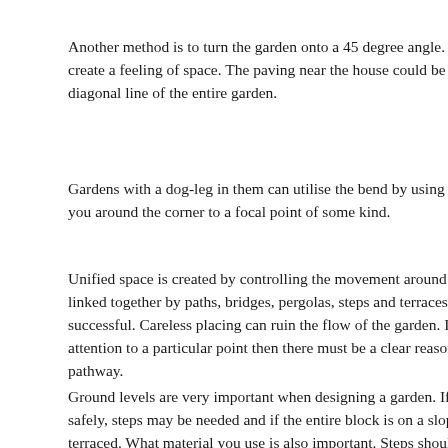Another method is to turn the garden onto a 45 degree angle. A [text continues off page] create a feeling of space. The paving near the house could be do[text continues off page] diagonal line of the entire garden.
Gardens with a dog-leg in them can utilise the bend by using te[text continues off page] you around the corner to a focal point of some kind.
Unified space is created by controlling the movement around th[text continues off page] linked together by paths, bridges, pergolas, steps and terraces th[text continues off page] successful. Careless placing can ruin the flow of the garden. If y[text continues off page] attention to a particular point then there must be a clear reason i[text continues off page] pathway.
Ground levels are very important when designing a garden. If a[text continues off page] safely, steps may be needed and if the entire block is on a slope,[text continues off page] terraced. What material you use is also important. Steps should [text continues off page] gravel may wash away. The surfaces need to be flat otherwise th[text continues off page] will not want to walk along them and instead they may create a[text continues off page]